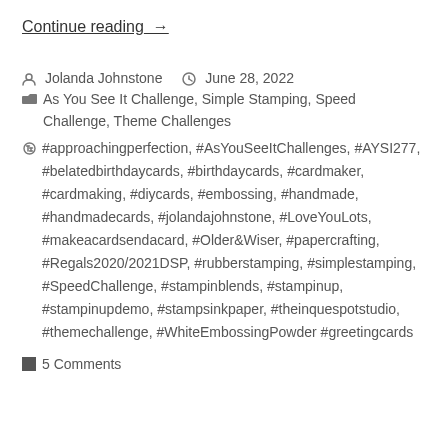Continue reading →
Jolanda Johnstone   June 28, 2022
As You See It Challenge, Simple Stamping, Speed Challenge, Theme Challenges
#approachingperfection, #AsYouSeeItChallenges, #AYSI277, #belatedbirthdaycards, #birthdaycards, #cardmaker, #cardmaking, #diycards, #embossing, #handmade, #handmadecards, #jolandajohnstone, #LoveYouLots, #makeacardsendacard, #Older&Wiser, #papercrafting, #Regals2020/2021DSP, #rubberstamping, #simplestamping, #SpeedChallenge, #stampinblends, #stampinup, #stampinupdemo, #stampsinkpaper, #theinquespotstudio, #themechallenge, #WhiteEmbossingPowder #greetingcards
5 Comments